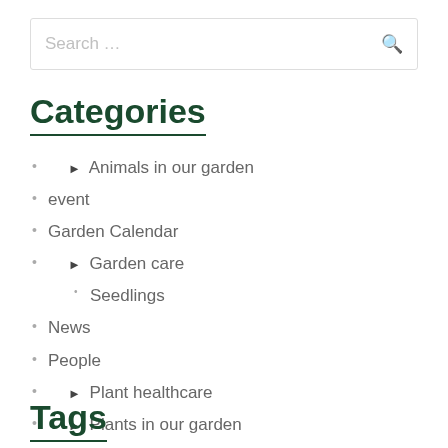Search …
Categories
▶ Animals in our garden
event
Garden Calendar
▶ Garden care
Seedlings
News
People
▶ Plant healthcare
▶ Plants in our garden
Recipes
Uncategorised
Tags